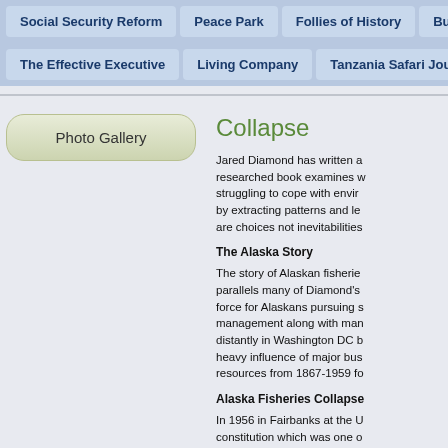Social Security Reform
Peace Park
Follies of History
Bush, Rove
The Effective Executive
Living Company
Tanzania Safari Journal
[Figure (other): Photo Gallery button - rounded rectangle button with gradient green/olive background]
Collapse
Jared Diamond has written a researched book examines w struggling to cope with envir by extracting patterns and le are choices not inevitabilities
The Alaska Story
The story of Alaskan fisherie parallels many of Diamond's force for Alaskans pursuing s management along with man distantly in Washington DC b heavy influence of major bus resources from 1867-1959 fo
Alaska Fisheries Collapse
In 1956 in Fairbanks at the U constitution which was one o minutes and discussion with and thinking about the long-t